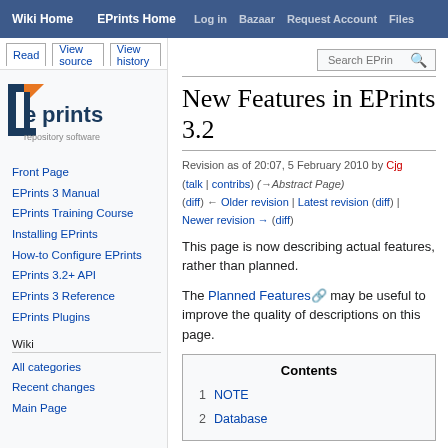Wiki Home | EPrints Home | Log in | Bazaar | Request Account | Files
Read | View source | View history | Search EPrints
[Figure (logo): EPrints repository software logo - blue square bracket with orange triangle accent, text 'eprints' and 'repository software']
Front Page
EPrints 3 Manual
EPrints Training Course
Installing EPrints
How-to Configure EPrints
EPrints 3.2+ API
EPrints 3 Reference
EPrints Plugins
Wiki
All categories
Recent changes
Main Page
New Features in EPrints 3.2
Revision as of 20:07, 5 February 2010 by Cjg (talk | contribs) (→Abstract Page) (diff) ← Older revision | Latest revision (diff) | Newer revision → (diff)
This page is now describing actual features, rather than planned.
The Planned Features may be useful to improve the quality of descriptions on this page.
| Contents |
| --- |
| 1 NOTE |
| 2 Database |